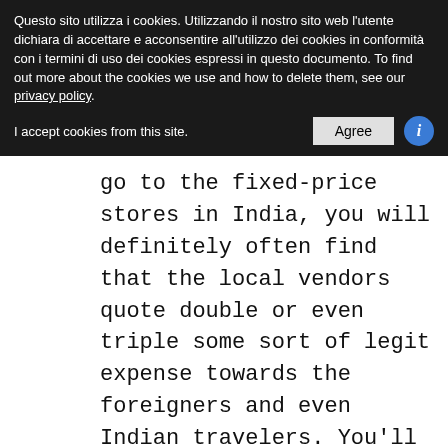Questo sito utilizza i cookies. Utilizzando il nostro sito web l'utente dichiara di accettare e acconsentire all'utilizzo dei cookies in conformità con i termini di uso dei cookies espressi in questo documento. To find out more about the cookies we use and how to delete them, see our privacy policy.
I accept cookies from this site. [Agree button] [info icon]
go to the fixed-price stores in India, you will definitely often find that the local vendors quote double or even triple some sort of legit expense towards the foreigners and even Indian travelers. You'll want to wander available to different stores seeking the price of exactly the same items it will offer you a concept concerning the legit price of their souvenir. And then you'll want to negotiate actually the options you